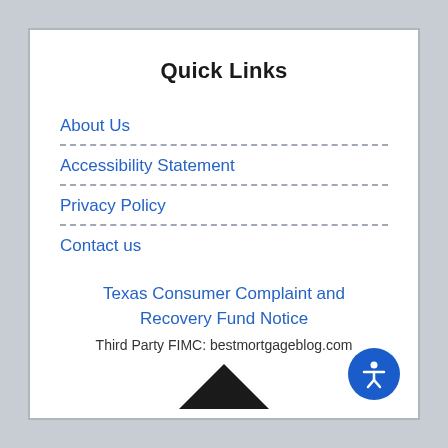Quick Links
About Us
Accessibility Statement
Privacy Policy
Contact us
Texas Consumer Complaint and Recovery Fund Notice
Third Party FIMC: bestmortgageblog.com